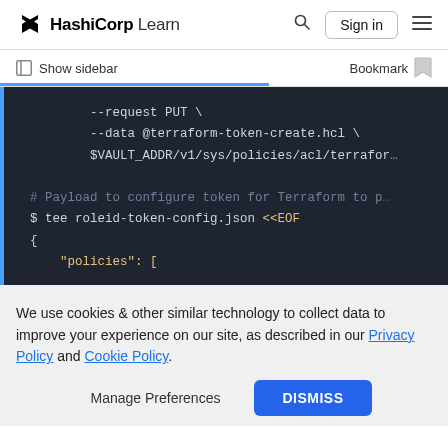HashiCorp Learn | Sign in
Show sidebar | Bookmark
[Figure (screenshot): Code block on dark background showing shell commands: --request PUT \, --data @terraform-token-create.hcl \, $VAULT_ADDR/v1/sys/policies/acl/terrafor..., # Payload to configure token for Terraform to p..., $ tee roleid-token-config.json <<EOF, {, "policies": []
We use cookies & other similar technology to collect data to improve your experience on our site, as described in our Privacy Policy and Cookie Policy.
Manage Preferences | DISMISS